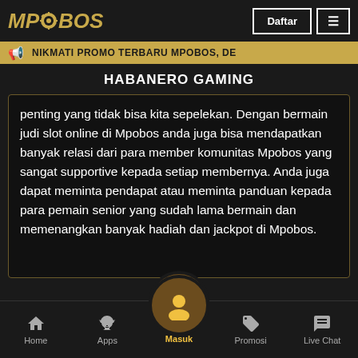MPOBOS — Daftar [menu]
NIKMATI PROMO TERBARU MPOBOS, DE
HABANERO GAMING
penting yang tidak bisa kita sepelekan. Dengan bermain judi slot online di Mpobos anda juga bisa mendapatkan banyak relasi dari para member komunitas Mpobos yang sangat supportive kepada setiap membernya. Anda juga dapat meminta pendapat atau meminta panduan kepada para pemain senior yang sudah lama bermain dan memenangkan banyak hadiah dan jackpot di Mpobos.
Home | Apps | Masuk | Promosi | Live Chat